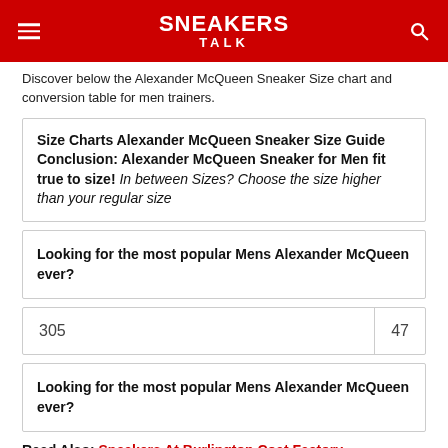SNEAKERS TALK
Discover below the Alexander McQueen Sneaker Size chart and conversion table for men trainers.
Size Charts Alexander McQueen Sneaker Size Guide Conclusion: Alexander McQueen Sneaker for Men fit true to size! In between Sizes? Choose the size higher than your regular size
Looking for the most popular Mens Alexander McQueen ever?
| 305 | 47 |
Looking for the most popular Mens Alexander McQueen ever?
Read Also: Sneakers At Burlington Coat Factory
Are Alexander Mcqueen Men's